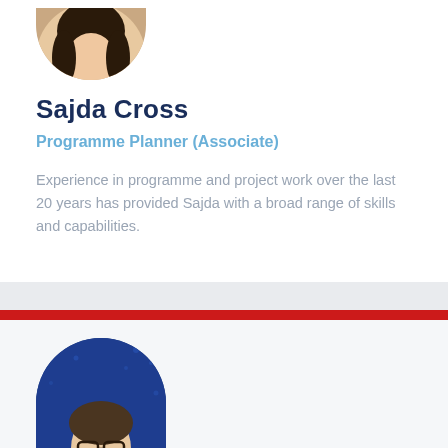[Figure (photo): Circular profile photo of Sajda Cross, a woman with dark hair, partially visible at top of card]
Sajda Cross
Programme Planner (Associate)
Experience in programme and project work over the last 20 years has provided Sajda with a broad range of skills and capabilities.
[Figure (photo): Circular profile photo of a man wearing glasses, with a blue digital/data background, partially visible at bottom of page]